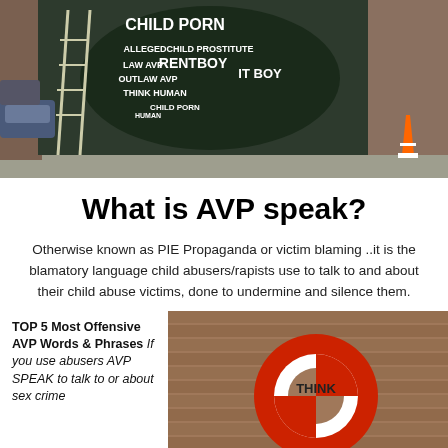[Figure (photo): Street mural on a dark wall showing a word cloud with terms like CHILD PORN, RENTBOY, OUTLAW AVP, THINK HUMAN, CHILD PROSTITUTE, ALLEGED, etc. A ladder leans against the wall. A traffic cone is visible on the right. Cars parked on the left.]
What is AVP speak?
Otherwise known as PIE Propaganda or victim blaming ..it is the blamatory language child abusers/rapists use to talk to and about their child abuse victims, done to undermine and silence them.
TOP 5 Most Offensive AVP Words & Phrases If you use abusers AVP SPEAK to talk to or about sex crime
[Figure (photo): A red and white life preserver ring hanging on a brick wall, with the word THINK written on it and rope coiled inside.]